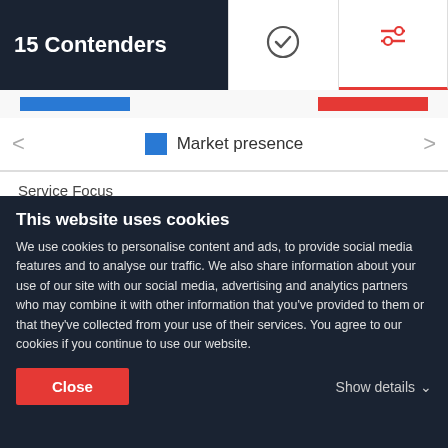15 Contenders
[Figure (infographic): Navigation tabs with checkmark icon and settings/filter icon with red underline]
[Figure (bar-chart): Blue bar and red bar in a header row]
< Market presence >
Service Focus
[Figure (stacked-bar-chart): Service Focus]
10%
< Video Production >
This website uses cookies
We use cookies to personalise content and ads, to provide social media features and to analyse our traffic. We also share information about your use of our site with our social media, advertising and analytics partners who may combine it with other information that you've provided to them or that they've collected from your use of their services. You agree to our cookies if you continue to use our website.
Close
Show details